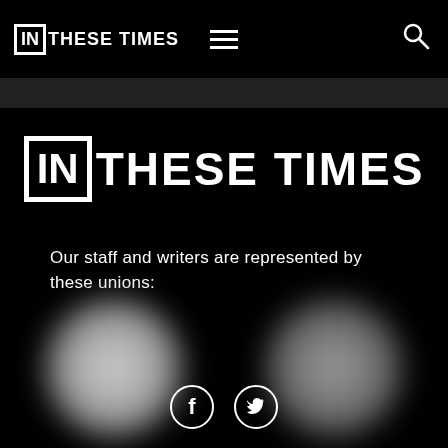IN THESE TIMES
[Figure (logo): In These Times logo — large white text with 'IN' in a bordered box, followed by 'THESE TIMES' on black background]
Our staff and writers are represented by these unions:
[Figure (illustration): Two blurred circular union logo images side by side on black background]
[Figure (illustration): Social media icons: Facebook and Twitter circles at the bottom of the page]